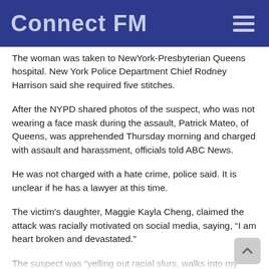Connect FM
The woman was taken to NewYork-Presbyterian Queens hospital. New York Police Department Chief Rodney Harrison said she required five stitches.
After the NYPD shared photos of the suspect, who was not wearing a face mask during the assault, Patrick Mateo, of Queens, was apprehended Thursday morning and charged with assault and harassment, officials told ABC News.
He was not charged with a hate crime, police said. It is unclear if he has a lawyer at this time.
The victim's daughter, Maggie Kayla Cheng, claimed the attack was racially motivated on social media, saying, “I am heart broken and devastated.”
The suspect was “yelling out racial slurs, walks into my mom and shoved my mother on Main street and Roosevelt Avenue in Flushing, Queens today,” Cheng wrote on Facebook. “He shoved her with such force that she hit her head on the concrete and